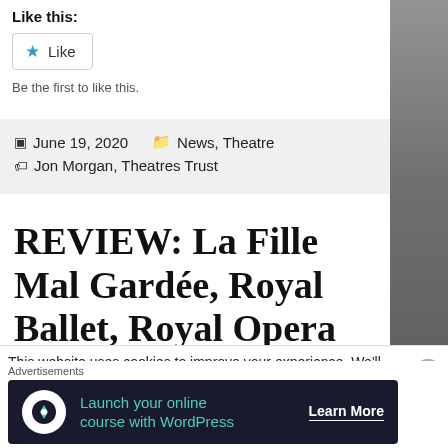Like this:
Like
Be the first to like this.
June 19, 2020   News, Theatre
Jon Morgan, Theatres Trust
REVIEW: La Fille Mal Gardée, Royal Ballet, Royal Opera House
This website uses cookies to improve your experience. We'll assume
Advertisements
Launch your online course with WordPress   Learn More